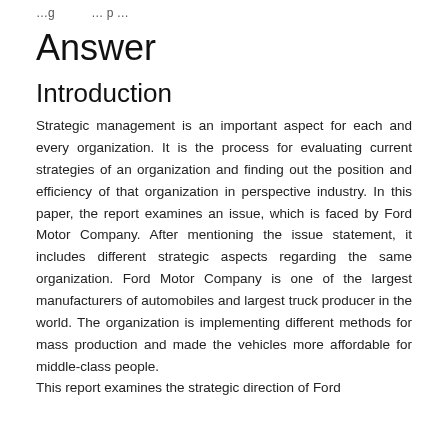…g … … p …
Answer
Introduction
Strategic management is an important aspect for each and every organization. It is the process for evaluating current strategies of an organization and finding out the position and efficiency of that organization in perspective industry. In this paper, the report examines an issue, which is faced by Ford Motor Company. After mentioning the issue statement, it includes different strategic aspects regarding the same organization. Ford Motor Company is one of the largest manufacturers of automobiles and largest truck producer in the world. The organization is implementing different methods for mass production and made the vehicles more affordable for middle-class people.
This report examines the strategic direction of Ford…